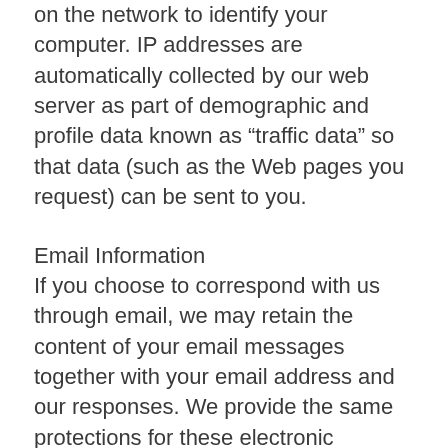on the network to identify your computer. IP addresses are automatically collected by our web server as part of demographic and profile data known as “traffic data” so that data (such as the Web pages you request) can be sent to you.
Email Information
If you choose to correspond with us through email, we may retain the content of your email messages together with your email address and our responses. We provide the same protections for these electronic communications that we employ in the maintenance of information received online, mail and telephone. This also applies when you register for our